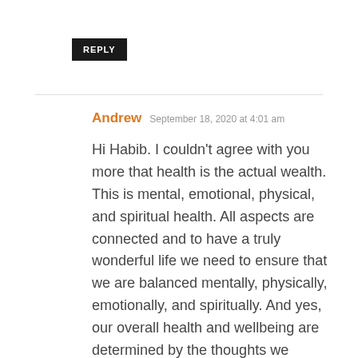REPLY
Andrew  September 18, 2020 at 4:01 am
Hi Habib. I couldn't agree with you more that health is the actual wealth. This is mental, emotional, physical, and spiritual health. All aspects are connected and to have a truly wonderful life we need to ensure that we are balanced mentally, physically, emotionally, and spiritually. And yes, our overall health and wellbeing are determined by the thoughts we